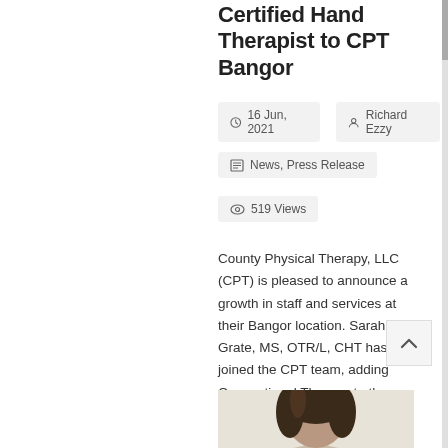Certified Hand Therapist to CPT Bangor
16 Jun, 2021   Richard Ezzy
News, Press Release
519 Views
County Physical Therapy, LLC (CPT) is pleased to announce a growth in staff and services at their Bangor location. Sarah Grate, MS, OTR/L, CHT has joined the CPT team, adding Occupational Therapy to the rehab treatment available in Bangor.
[Figure (photo): Photo of Sarah Grate, a woman with dark hair, partially visible from chest up, against a light background.]